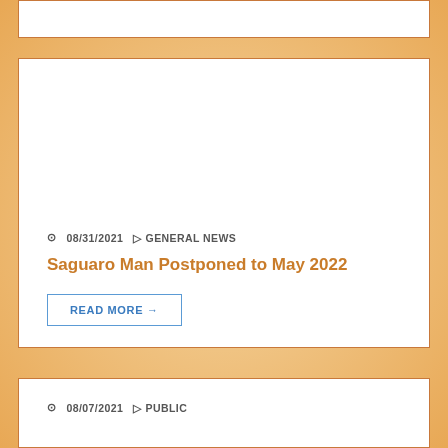08/31/2021  GENERAL NEWS
Saguaro Man Postponed to May 2022
READ MORE →
08/07/2021  PUBLIC